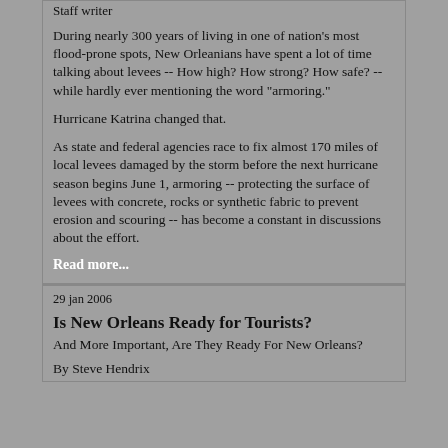Staff writer
During nearly 300 years of living in one of nation's most flood-prone spots, New Orleanians have spent a lot of time talking about levees -- How high? How strong? How safe? -- while hardly ever mentioning the word "armoring."
Hurricane Katrina changed that.
As state and federal agencies race to fix almost 170 miles of local levees damaged by the storm before the next hurricane season begins June 1, armoring -- protecting the surface of levees with concrete, rocks or synthetic fabric to prevent erosion and scouring -- has become a constant in discussions about the effort.
Read more...
29 jan 2006
Is New Orleans Ready for Tourists?
And More Important, Are They Ready For New Orleans?
By Steve Hendrix